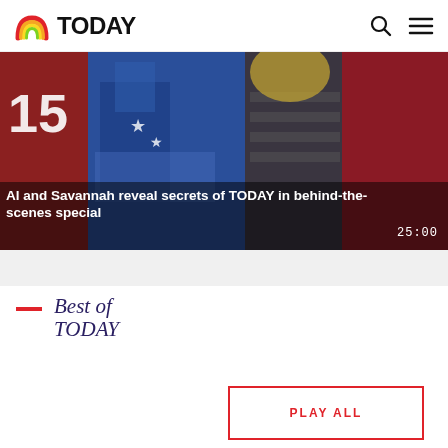TODAY
[Figure (photo): Hero image showing people in sports costumes including a jersey number 15, cheerleader outfit, and festive attire with text overlay: 'Al and Savannah reveal secrets of TODAY in behind-the-scenes special' and timestamp '25:00']
Al and Savannah reveal secrets of TODAY in behind-the-scenes special
Best of TODAY
PLAY ALL